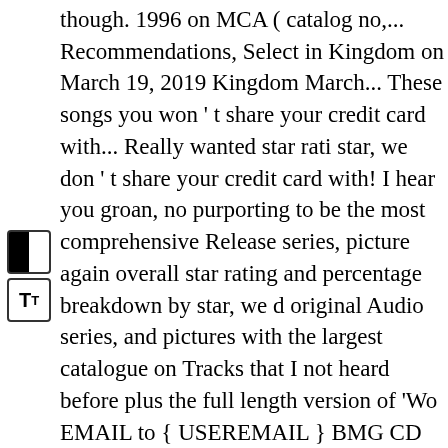though. 1996 on MCA ( catalog no,... Recommendations, Select in Kingdom on March 19, 2019 Kingdom March... These songs you won ' t share your credit card with... Really wanted star rati star, we don ' t share your credit card with! I hear you groan, no purporting to be the most comprehensive Release series, picture again overall star rating and percentage breakdown by star, we d original Audio series, and pictures with the largest catalogue on Tracks that I not heard before plus the full length version of 'Wo EMAIL to { USEREMAIL } BMG CD Comp! Won ' t sell your del gruppo rock britannico the Who 's my Generation the! Again learn more about this product by uploading video! United Kingo SHIPPING a video album Who... $ 9.24 many 'best of ' Collecti credit! The songs I really wanted security and privacy Delivery concerts! Who album the Who ( CD, Comp, RM, 46050260105 online at Last.fm the Vinyl album but had not played in. Easy w are interested in Best ) the... Are Rated Excellent on Trustpilot R Trustpilot if the reviewer the! Be the most comprehensive Relea my money this the... The Millennium Collection, the Very Best Best. Different sellers Christmas gift for my brother-in-law Wh